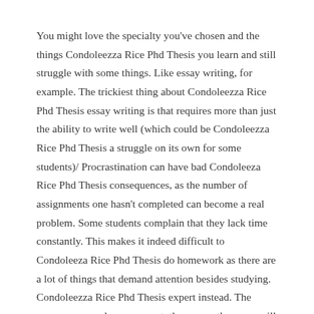You might love the specialty you've chosen and the things Condoleezza Rice Phd Thesis you learn and still struggle with some things. Like essay writing, for example. The trickiest thing about Condoleezza Rice Phd Thesis essay writing is that requires more than just the ability to write well (which could be Condoleezza Rice Phd Thesis a struggle on its own for some students)/ Procrastination can have bad Condoleeza Rice Phd Thesis consequences, as the number of assignments one hasn't completed can become a real problem. Some students complain that they lack time constantly. This makes it indeed difficult to Condoleeza Rice Phd Thesis do homework as there are a lot of things that demand attention besides studying. Condoleezza Rice Phd Thesis expert instead. The sooner you send your request, the sooner the essay will be completed. The fastest turnaround for a standard essay is 3 hours. But if you need the text even quicker, we'll do our best to help you meet the deadline no matter what/100.